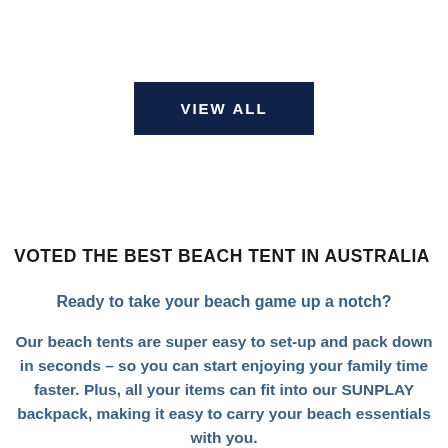[Figure (other): A dark navy blue rectangular button with white uppercase bold text reading 'VIEW ALL']
VOTED THE BEST BEACH TENT IN AUSTRALIA
Ready to take your beach game up a notch?
Our beach tents are super easy to set-up and pack down in seconds – so you can start enjoying your family time faster. Plus, all your items can fit into our SUNPLAY backpack, making it easy to carry your beach essentials with you.